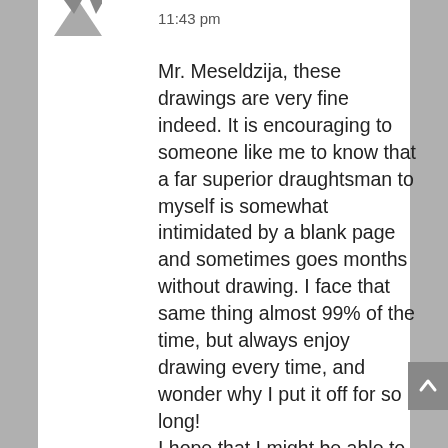[Figure (illustration): Small avatar icon of a person at top left of chat message]
11:43 pm
Mr. Meseldzija, these drawings are very fine indeed. It is encouraging to someone like me to know that a far superior draughtsman to myself is somewhat intimidated by a blank page and sometimes goes months without drawing. I face that same thing almost 99% of the time, but always enjoy drawing every time, and wonder why I put it off for so long!
I hope that I might be able to meet you at Spectrum Art his next year, and